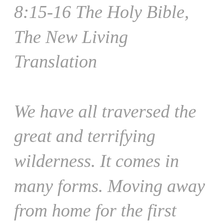8:15-16 The Holy Bible, The New Living Translation

We have all traversed the great and terrifying wilderness. It comes in many forms. Moving away from home for the first